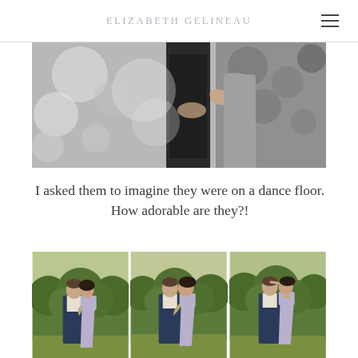ELIZABETH GELINEAU
[Figure (photo): Black and white photo of a couple embracing outdoors, surrounded by blurred foliage. The woman has her arms around the man's back.]
I asked them to imagine they were on a dance floor. How adorable are they?!
[Figure (photo): Three color photos side by side of a couple posing outdoors in front of green bushes. The man wears a navy blazer and the woman wears a light lavender dress.]